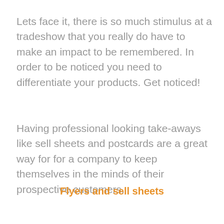Lets face it, there is so much stimulus at a tradeshow that you really do have to make an impact to be remembered. In order to be noticed you need to differentiate your products. Get noticed!
Having professional looking take-aways like sell sheets and postcards are a great way for for a company to keep themselves in the minds of their prospective customers.
Flyers and sell sheets